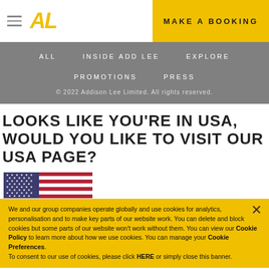AL | MAKE A BOOKING
ALL   INSIDE ADD LEE   EXPLORE   PROMOTIONS   PRESS
© 2022 Addison Lee Limited. All rights reserved.
LOOKS LIKE YOU'RE IN USA, WOULD YOU LIKE TO VISIT OUR USA PAGE?
[Figure (illustration): US flag illustration]
We and our group companies operate globally and use cookies for analytics, personalisation and to make key parts of our website work. You can delete and block cookies but some parts of our website won't work without them. You can view our Cookie Policy to learn more about how we use cookies. You can manage your Cookie Preferences. To consent to our use of cookies, please click HERE or simply close this banner.